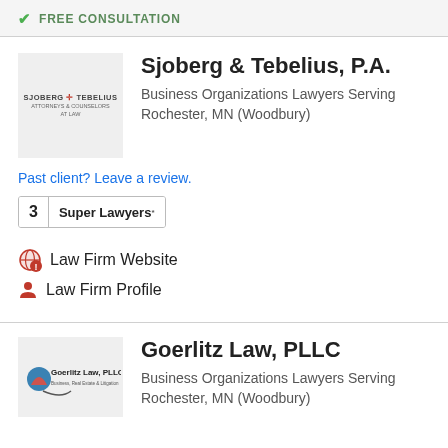✓ FREE CONSULTATION
Sjoberg & Tebelius, P.A.
Business Organizations Lawyers Serving Rochester, MN (Woodbury)
Past client? Leave a review.
3 Super Lawyers®
Law Firm Website
Law Firm Profile
Goerlitz Law, PLLC
Business Organizations Lawyers Serving Rochester, MN (Woodbury)